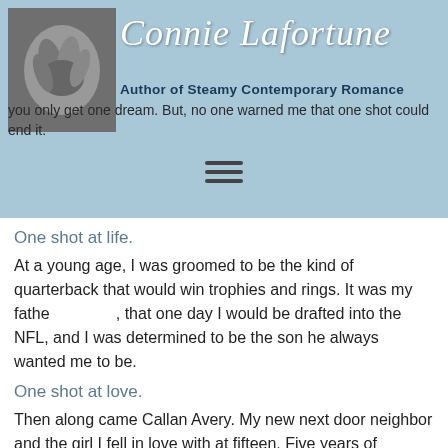Connie Lafortune — Author of Steamy Contemporary Romance
[Figure (photo): Black and white photo of intertwined hands, used as book cover thumbnail]
you only get one dream. But, no one warned me that one shot could end it.
One shot at life.
At a young age, I was groomed to be the kind of quarterback that would win trophies and rings. It was my father's dream, that one day I would be drafted into the NFL, and I was determined to be the son he always wanted me to be.
One shot at love.
Then along came Callan Avery. My new next door neighbor and the girl I fell in love with at fifteen. Five years of passion and pleasure so intense, we begin and end together. It would have taken an unimaginable travesty to tear us apart. And that's exactly what fate had in store for us.
One shot… that would change everything.